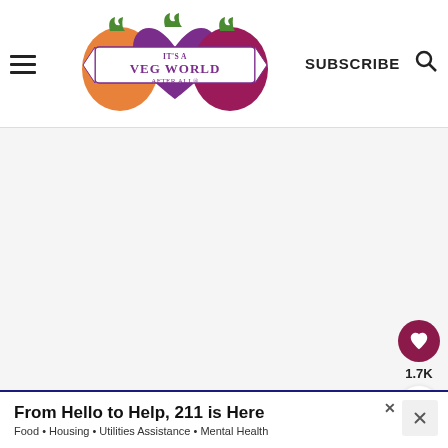[Figure (logo): It's a Veg World After All logo with vegetable characters (carrot, beet, beet) forming a badge with banner text]
SUBSCRIBE
[Figure (other): Heart/like button showing 1.7K count and share button on right sidebar]
[Figure (photo): What's Next panel showing thumbnail of Maple Swiss Chard Salad]
As I mentioned earlier, this recipe would be a
From Hello to Help, 211 is Here
Food • Housing • Utilities Assistance • Mental Health